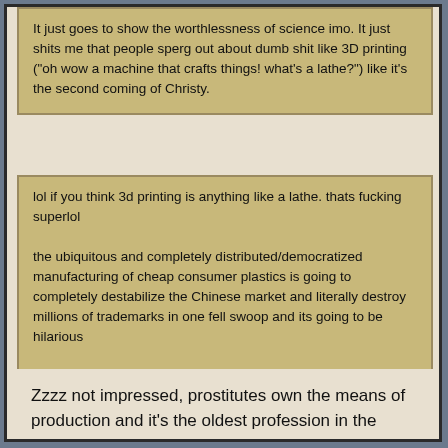It just goes to show the worthlessness of science imo. It just shits me that people sperg out about dumb shit like 3D printing ("oh wow a machine that crafts things! what's a lathe?") like it's the second coming of Christy.
lol if you think 3d printing is anything like a lathe. thats fucking superlol

the ubiquitous and completely distributed/democratized manufacturing of cheap consumer plastics is going to completely destabilize the Chinese market and literally destroy millions of trademarks in one fell swoop and its going to be hilarious

this is seriously the one "new" thing that its completely dumb to smugly underplay about. *talks about workers owning the means of production* *poo-poos the first thing that ever comes along to actually make that possible*
Zzzz not impressed, prostitutes own the means of production and it's the oldest profession in the world.